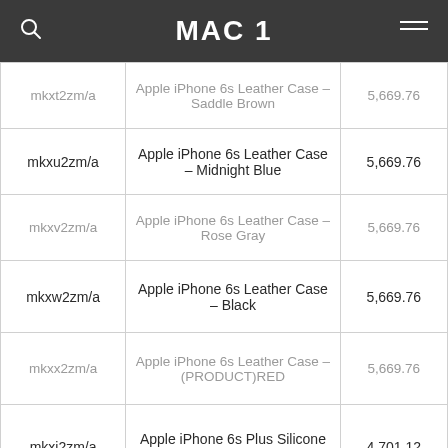MAC 1
| mkxt2zm/a | Apple iPhone 6s Leather Case – Saddle Brown | 5,669.76 |
| mkxu2zm/a | Apple iPhone 6s Leather Case – Midnight Blue | 5,669.76 |
| mkxv2zm/a | Apple iPhone 6s Leather Case – Rose Gray | 5,669.76 |
| mkxw2zm/a | Apple iPhone 6s Leather Case – Black | 5,669.76 |
| mkxx2zm/a | Apple iPhone 6s Leather Case – (PRODUCT)RED | 5,669.76 |
| mkxj2zm/a | Apple iPhone 6s Plus Silicone Case – Charcoal Gray | 4,701.12 |